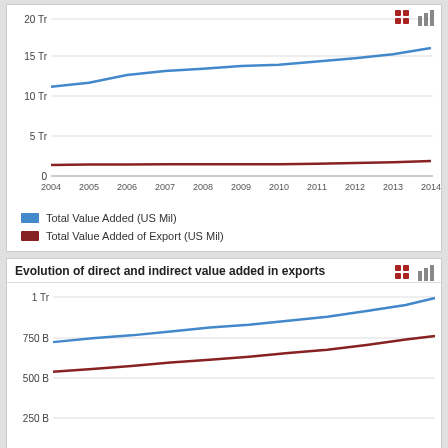[Figure (line-chart): ]
[Figure (line-chart): Evolution of direct and indirect value added in exports]